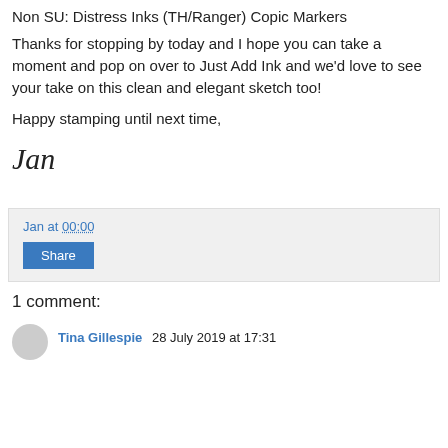Non SU: Distress Inks (TH/Ranger) Copic Markers
Thanks for stopping by today and I hope you can take a moment and pop on over to Just Add Ink and we'd love to see your take on this clean and elegant sketch too!
Happy stamping until next time,
Jan
Jan at 00:00
Share
1 comment:
Tina Gillespie  28 July 2019 at 17:31